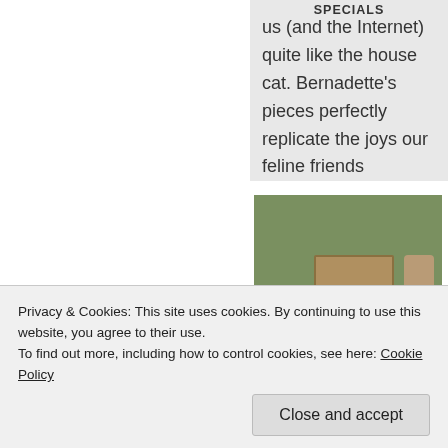SPECIALS
[Figure (photo): Photo of colorful cat-themed decorative items on a table]
[Figure (photo): Photo of cats outdoors being fed as part of a TNR (Trap-Neuter-Return) project]
TNR project to remove stray and feral cats
us (and the Internet) quite like the house cat. Bernadette's pieces perfectly replicate the joys our feline friends
Privacy & Cookies: This site uses cookies. By continuing to use this website, you agree to their use.
To find out more, including how to control cookies, see here: Cookie Policy
Close and accept
Next >>